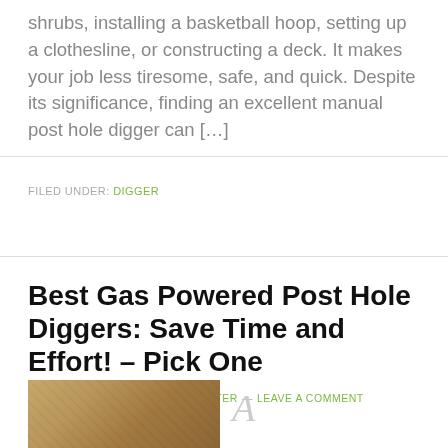shrubs, installing a basketball hoop, setting up a clothesline, or constructing a deck. It makes your job less tiresome, safe, and quick. Despite its significance, finding an excellent manual post hole digger can […]
FILED UNDER: DIGGER
Best Gas Powered Post Hole Diggers: Save Time and Effort! – Pick One
NOVEMBER 2, 2019 BY WOODCUTTER — LEAVE A COMMENT
[Figure (photo): Thumbnail image of gas powered post hole digger, warm brown tones]